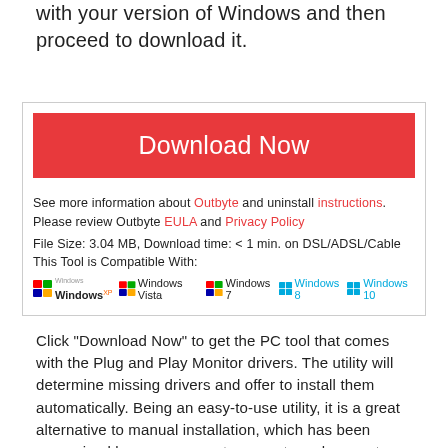with your version of Windows and then proceed to download it.
[Figure (infographic): Download box with red Download Now button, Outbyte info text with links, file size info, Windows compatibility logos (XP, Vista, 7, 8, 10)]
Click "Download Now" to get the PC tool that comes with the Plug and Play Monitor drivers. The utility will determine missing drivers and offer to install them automatically. Being an easy-to-use utility, it is a great alternative to manual installation, which has been recognized by many computer experts and computer magazines. Limitations: trial